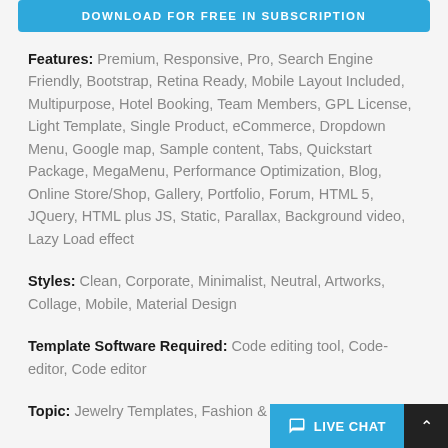[Figure (other): Blue download button bar at the top with text 'DOWNLOAD FOR FREE IN SUBSCRIPTION']
Features: Premium, Responsive, Pro, Search Engine Friendly, Bootstrap, Retina Ready, Mobile Layout Included, Multipurpose, Hotel Booking, Team Members, GPL License, Light Template, Single Product, eCommerce, Dropdown Menu, Google map, Sample content, Tabs, Quickstart Package, MegaMenu, Performance Optimization, Blog, Online Store/Shop, Gallery, Portfolio, Forum, HTML 5, JQuery, HTML plus JS, Static, Parallax, Background video, Lazy Load effect
Styles: Clean, Corporate, Minimalist, Neutral, Artworks, Collage, Mobile, Material Design
Template Software Required: Code editing tool, Code-editor, Code editor
Topic: Jewelry Templates, Fashion & Beauty
Color: black, white, brown, orange